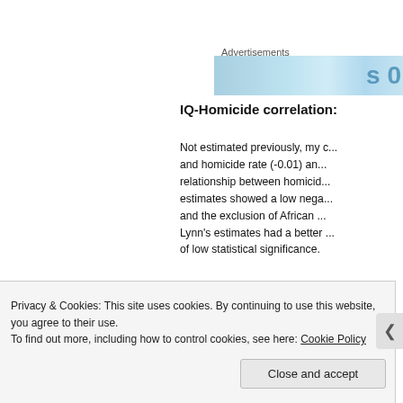Advertisements
[Figure (other): Advertisement banner with light blue background and partial text visible]
IQ-Homicide correlation:
Not estimated previously, my c... and homicide rate (-0.01) an... relationship between homicid... estimates showed a low nega... and the exclusion of African ... Lynn's estimates had a better ... of low statistical significance.
Privacy & Cookies: This site uses cookies. By continuing to use this website, you agree to their use.
To find out more, including how to control cookies, see here: Cookie Policy
Close and accept